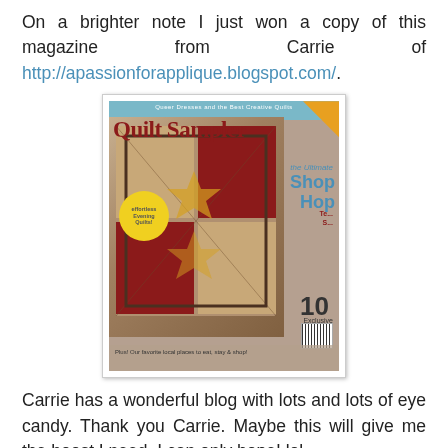On a brighter note I just won a copy of this magazine from Carrie of http://apassionforapplique.blogspot.com/.
[Figure (photo): Photo of Quilt Sampler magazine cover showing a quilt, 'The Ultimate Shop Hop' text, and '10 Exclusive All-New Projects']
Carrie has a wonderful blog with lots and lots of eye candy. Thank you Carrie. Maybe this will give me the boost I need. I can only hope! lol
DD and her husband are off to Jamaica on Monday and I will be dogsitting their lovely Chocolate Lab, Daisy. This is a picture of her at Christmas.